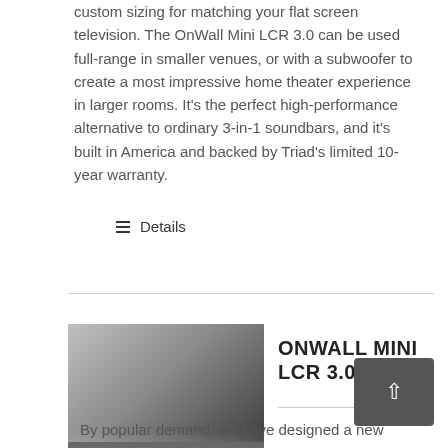custom sizing for matching your flat screen television. The OnWall Mini LCR 3.0 can be used full-range in smaller venues, or with a subwoofer to create a most impressive home theater experience in larger rooms. It's the perfect high-performance alternative to ordinary 3-in-1 soundbars, and it's built in America and backed by Triad's limited 10-year warranty.
Details
[Figure (photo): Black and white photo of a long flat speaker bar (OnWall Mini LCR 3.0 SE) shown at an angle against a dark gradient background]
ONWALL MINI LCR 3.0 SE
By popular demand, we have designed a new